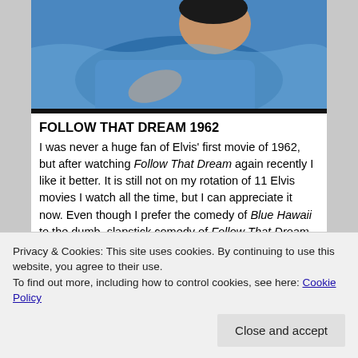[Figure (photo): Elvis Presley in a blue shirt, reclining, from the 1962 film Follow That Dream]
FOLLOW THAT DREAM 1962
I was never a huge fan of Elvis' first movie of 1962, but after watching Follow That Dream again recently I like it better. It is still not on my rotation of 11 Elvis movies I watch all the time, but I can appreciate it now. Even though I prefer the comedy of Blue Hawaii to the dumb, slapstick comedy of Follow That Dream. In the same way, I prefer Elvis' 'cool' characters in his other movies to his country bumpkin Forest Gump like
Privacy & Cookies: This site uses cookies. By continuing to use this website, you agree to their use.
To find out more, including how to control cookies, see here: Cookie Policy